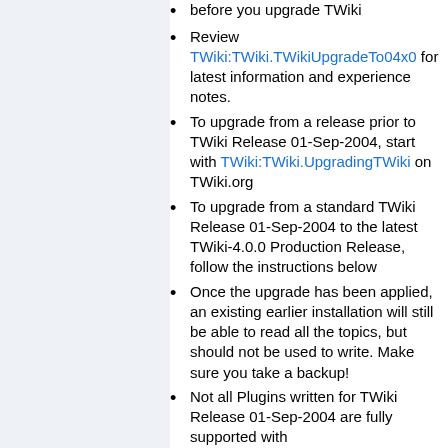before you upgrade TWiki
Review TWiki:TWiki.TWikiUpgradeTo04x0 for latest information and experience notes.
To upgrade from a release prior to TWiki Release 01-Sep-2004, start with TWiki:TWiki.UpgradingTWiki on TWiki.org
To upgrade from a standard TWiki Release 01-Sep-2004 to the latest TWiki-4.0.0 Production Release, follow the instructions below
Once the upgrade has been applied, an existing earlier installation will still be able to read all the topics, but should not be used to write. Make sure you take a backup!
Not all Plugins written for TWiki Release 01-Sep-2004 are fully supported with